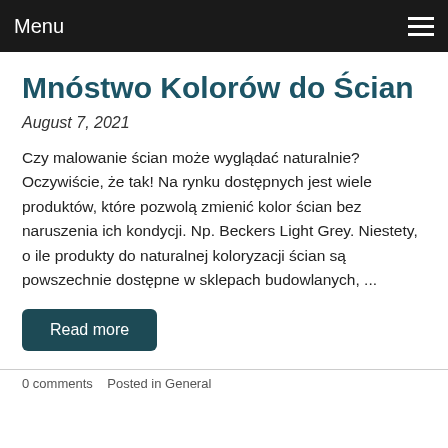Menu
Mnóstwo Kolorów do Ścian
August 7, 2021
Czy malowanie ścian może wyglądać naturalnie? Oczywiście, że tak! Na rynku dostępnych jest wiele produktów, które pozwolą zmienić kolor ścian bez naruszenia ich kondycji. Np. Beckers Light Grey. Niestety, o ile produkty do naturalnej koloryzacji ścian są powszechnie dostępne w sklepach budowlanych, ...
Read more
0 comments   Posted in General